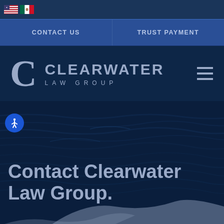[Figure (screenshot): Top bar with US flag and Mexico flag icons]
CONTACT US    TRUST PAYMENT
[Figure (logo): Clearwater Law Group logo with large C letter and text CLEARWATER LAW GROUP, with hamburger menu icon on right]
[Figure (photo): Dark blue water/ocean texture background with accessibility icon button (wheelchair figure in circle) on left side]
Contact Clearwater Law Group.